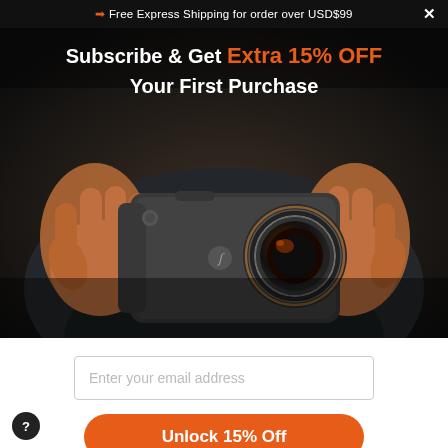➤ Free Express Shipping for order over USD$99
Subscribe & Get Extra 15% OFF Your First Purchase
[Figure (photo): Person holding a smartphone camera case with an attached wide-angle lens, dark background]
Enter your email address
Unlock 15% Off
?